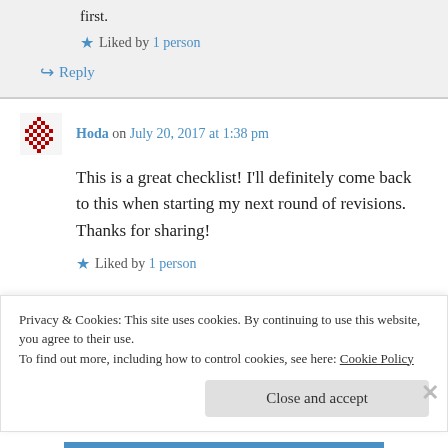first.
★ Liked by 1 person
↪ Reply
Hoda on July 20, 2017 at 1:38 pm
This is a great checklist! I'll definitely come back to this when starting my next round of revisions. Thanks for sharing!
★ Liked by 1 person
Privacy & Cookies: This site uses cookies. By continuing to use this website, you agree to their use.
To find out more, including how to control cookies, see here: Cookie Policy
Close and accept